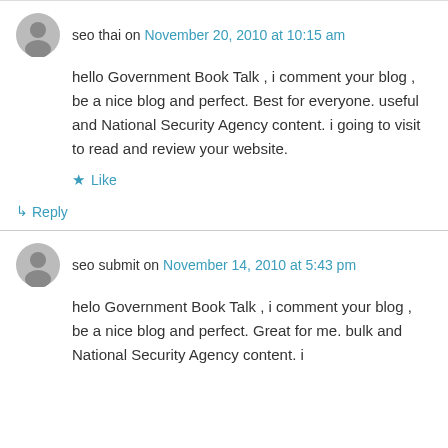seo thai on November 20, 2010 at 10:15 am
hello Government Book Talk , i comment your blog , be a nice blog and perfect. Best for everyone. useful and National Security Agency content. i going to visit to read and review your website.
Like
Reply
seo submit on November 14, 2010 at 5:43 pm
helo Government Book Talk , i comment your blog , be a nice blog and perfect. Great for me. bulk and National Security Agency content. i